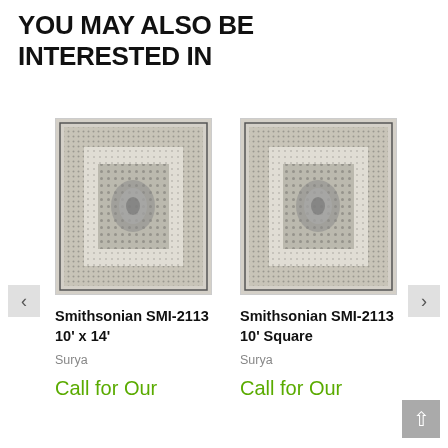YOU MAY ALSO BE INTERESTED IN
[Figure (photo): Photo of a Smithsonian SMI-2113 rug with intricate geometric pattern in grey and cream tones, rectangular shape]
Smithsonian SMI-2113 10' x 14'
Surya
Call for Our
[Figure (photo): Photo of a Smithsonian SMI-2113 rug with intricate geometric pattern in grey and cream tones, square shape]
Smithsonian SMI-2113 10' Square
Surya
Call for Our